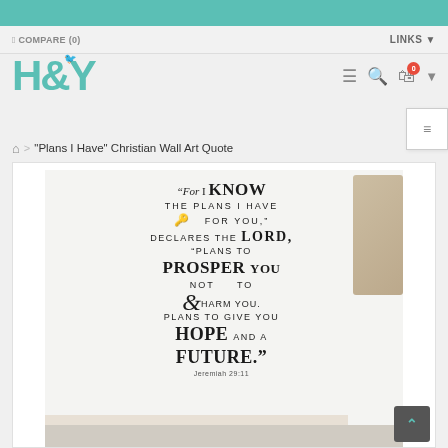COMPARE (0)   LINKS
[Figure (logo): H&Y store logo in teal color with a small bird icon above the ampersand]
Breadcrumb: Home > "Plans I Have" Christian Wall Art Quote
[Figure (photo): Wall art decal showing the Bible verse Jeremiah 29:11: "For I Know the plans I have for you, declares the Lord, plans to prosper you & not to harm you, plans to give you hope and a future." displayed in mixed typography on a light wall with a wicker lamp in the background.]